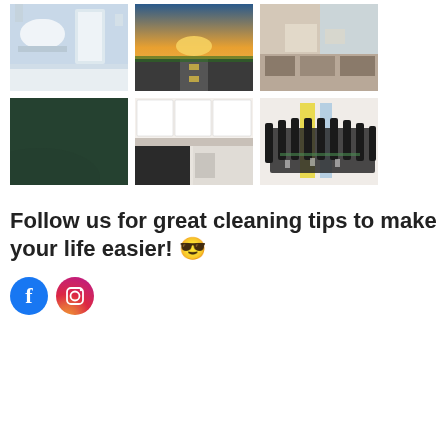[Figure (photo): Six photos in two rows of three: top row shows a white bathroom, a sunset road, and a modern kitchen/living area; bottom row shows a dark green solid color, a white kitchen, and a conference room with black chairs.]
Follow us for great cleaning tips to make your life easier! 😎
[Figure (infographic): Facebook and Instagram social media icons side by side]